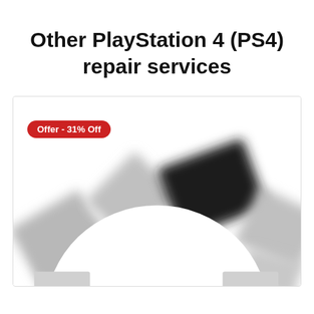Other PlayStation 4 (PS4) repair services
[Figure (photo): Blurred photo of PlayStation 4 console parts arranged in a circular pattern, showing grey and black PS4 components. An offer badge in red reading 'Offer - 31% Off' is overlaid in the top-left corner.]